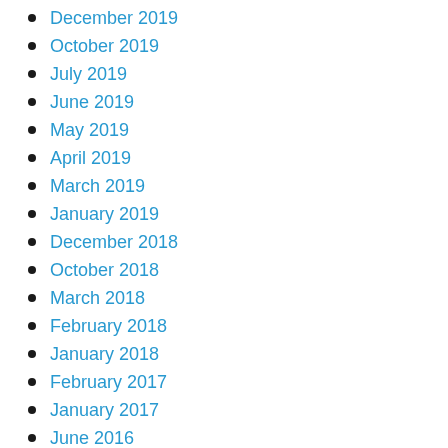December 2019
October 2019
July 2019
June 2019
May 2019
April 2019
March 2019
January 2019
December 2018
October 2018
March 2018
February 2018
January 2018
February 2017
January 2017
June 2016
April 2016